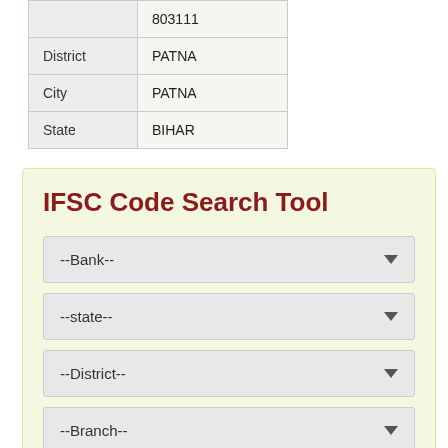|  | 803111 |
| District | PATNA |
| City | PATNA |
| State | BIHAR |
IFSC Code Search Tool
--Bank--
--state--
--District--
--Branch--